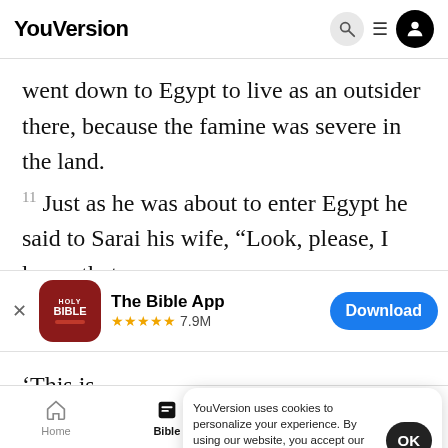YouVersion
went down to Egypt to live as an outsider there, because the famine was severe in the land.
11 Just as he was about to enter Egypt he said to Sarai his wife, “Look, please, I know that you are
[Figure (screenshot): App download banner for The Bible App showing icon, 5-star rating of 7.9M reviews, and Download button]
‘This is
let live.
YouVersion uses cookies to personalize your experience. By using our website, you accept our use of cookies as described in our Privacy Policy.
Home   Bible   Plans   Videos